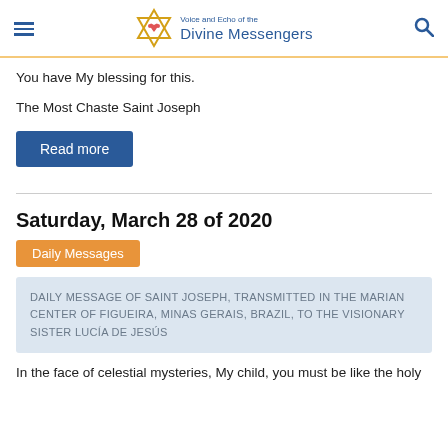Voice and Echo of the Divine Messengers
You have My blessing for this.
The Most Chaste Saint Joseph
Read more
Saturday, March 28 of 2020
Daily Messages
DAILY MESSAGE OF SAINT JOSEPH, TRANSMITTED IN THE MARIAN CENTER OF FIGUEIRA, MINAS GERAIS, BRAZIL, TO THE VISIONARY SISTER LUCÍA DE JESÚS
In the face of celestial mysteries, My child, you must be like the holy